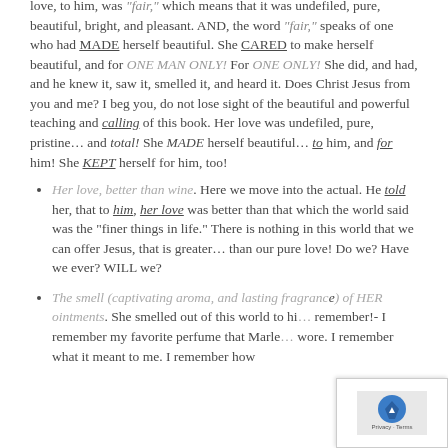love, to him, was "fair," which means that it was undefiled, pure, beautiful, bright, and pleasant. AND, the word "fair," speaks of one who had MADE herself beautiful. She CARED to make herself beautiful, and for ONE MAN ONLY! For ONE ONLY! She did, and had, and he knew it, saw it, smelled it, and heard it. Does Christ Jesus from you and me? I beg you, do not lose sight of the beautiful and powerful teaching and calling of this book. Her love was undefiled, pure, pristine… and total! She MADE herself beautiful… to him, and for him! She KEPT herself for him, too!
Her love, better than wine. Here we move into the actual. He told her, that to him, her love was better than that which the world said was the "finer things in life." There is nothing in this world that we can offer Jesus, that is greater… than our pure love! Do we? Have we ever? WILL we?
The smell (captivating aroma, and lasting fragrance) of HER ointments. She smelled out of this world to hi… remember!- I remember my favorite perfume that Marle… wore. I remember what it meant to me. I remember how